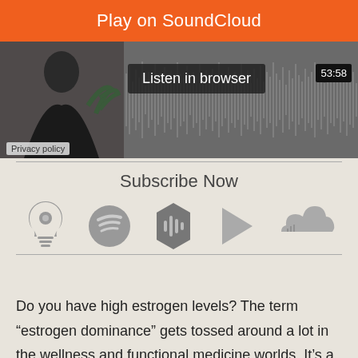[Figure (screenshot): SoundCloud embedded player with orange 'Play on SoundCloud' button, 'Listen in browser' dark button, waveform visualization, time label 53:58, person photo on left, Privacy policy label]
Privacy policy
Subscribe Now
[Figure (infographic): Row of five podcast/music platform icons: Apple Podcasts, Spotify, Castbox, Google Play, SoundCloud — all in grey]
Do you have high estrogen levels? The term “estrogen dominance” gets tossed around a lot in the wellness and functional medicine worlds. It’s a common blanket explanation for many common – and even sometimes